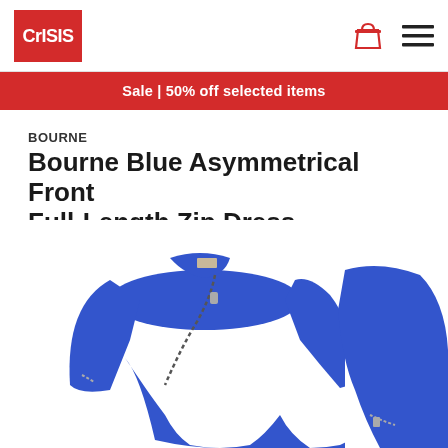Crisis
Sale | 50% off selected items
BOURNE
Bourne Blue Asymmetrical Front Full-Length Zip Dress
[Figure (photo): Blue asymmetrical front full-length zip dress shown from the front, with a diagonal zipper running from collar to hem and a small collar label. The dress is electric blue with a fitted silhouette and long sleeves with zipper cuff detail.]